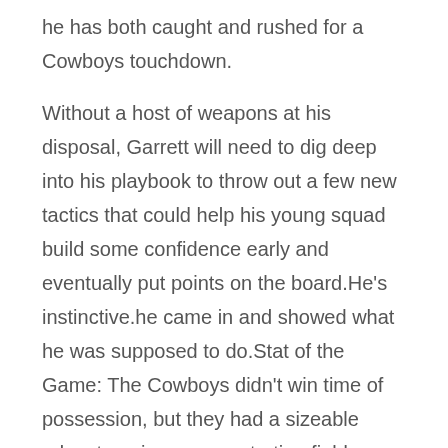he has both caught and rushed for a Cowboys touchdown.
Without a host of weapons at his disposal, Garrett will need to dig deep into his playbook to throw out a few new tactics that could help his young squad build some confidence early and eventually put points on the board.He's instinctive.he came in and showed what he was supposed to do.Stat of the Game: The Cowboys didn't win time of possession, but they had a sizeable advantage in average starting field position.As an offensive play-caller, Mike McCarthy is familiar with the challenges of facing a variety of A-gap pressures from talented linebackers from his time with the Green Bay Packers.We kept telling each other before that last drive that it is going to be a four and out.
People are looking at you.Smith is the only one no longer with the club.Unfortunately, that game got away from us, but